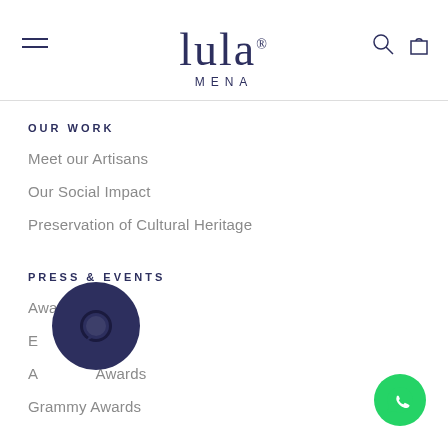[Figure (logo): Lula MENA brand logo with serif lowercase text and registered trademark symbol, centered at top of page]
OUR WORK
Meet our Artisans
Our Social Impact
Preservation of Cultural Heritage
PRESS & EVENTS
Awards
Emmy Awards
Academy Awards
Grammy Awards